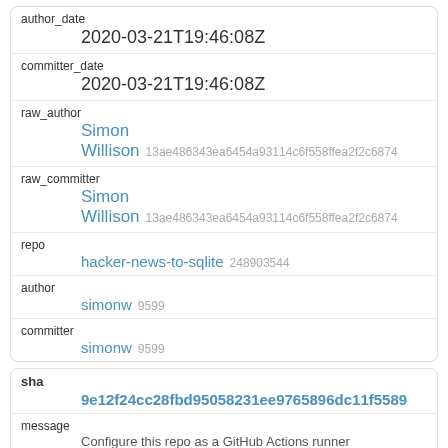| author_date | 2020-03-21T19:46:08Z |
| committer_date | 2020-03-21T19:46:08Z |
| raw_author | Simon
Willison 13ae486343ea6454a93114c6f558ffea2f2c6874 |
| raw_committer | Simon
Willison 13ae486343ea6454a93114c6f558ffea2f2c6874 |
| repo | hacker-news-to-sqlite 248903544 |
| author | simonw 9599 |
| committer | simonw 9599 |
| sha | 9e12f24cc28fbd95058231ee9765896dc11f5589 |
| message | Configure this repo as a GitHub Actions runner |